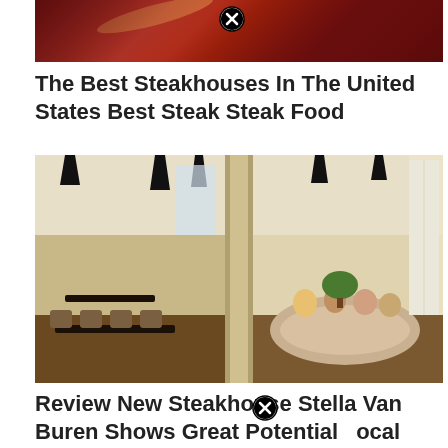[Figure (photo): Close-up photo of red/brown leather seating with warm dark red tones, restaurant interior detail. Has a close/dismiss button overlay.]
The Best Steakhouses In The United States Best Steak Steak Food
[Figure (photo): Interior of a modern steakhouse restaurant showing tables with dark wood, pendant lamps, a curved booth seating area, and large windows with sheer curtains. Has a close/dismiss button overlay.]
Review New Steakhouse Stella Van Buren Shows Great Potential Local Restaurant Van